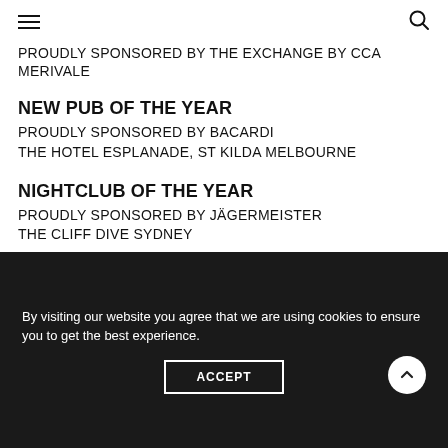≡ [menu icon] | [search icon]
PROUDLY SPONSORED BY THE EXCHANGE BY CCA MERIVALE
NEW PUB OF THE YEAR
PROUDLY SPONSORED BY BACARDI
THE HOTEL ESPLANADE, ST KILDA MELBOURNE
NIGHTCLUB OF THE YEAR
PROUDLY SPONSORED BY JÄGERMEISTER
THE CLIFF DIVE SYDNEY
RESTAURANT BAR OF THE YEAR
By visiting our website you agree that we are using cookies to ensure you to get the best experience.
ACCEPT